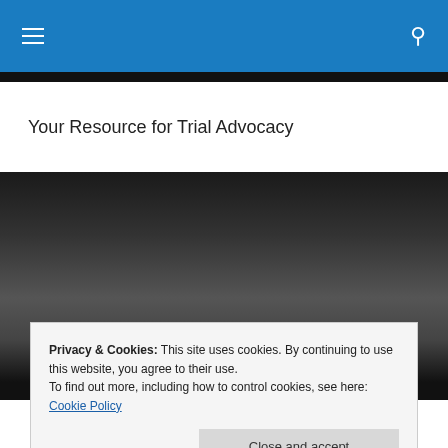Navigation menu and search icon
Your Resource for Trial Advocacy
[Figure (photo): Dark banner image with gradient, likely background photo for a legal/trial advocacy website]
Privacy & Cookies: This site uses cookies. By continuing to use this website, you agree to their use.
To find out more, including how to control cookies, see here: Cookie Policy
Close and accept